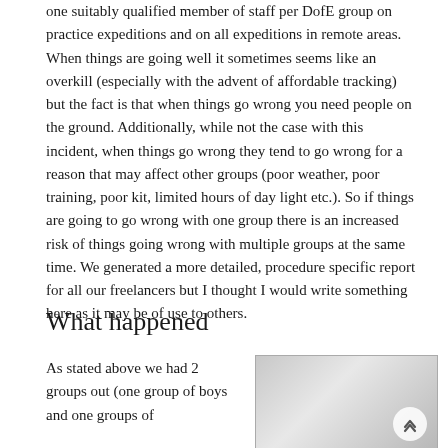one suitably qualified member of staff per DofE group on practice expeditions and on all expeditions in remote areas. When things are going well it sometimes seems like an overkill (especially with the advent of affordable tracking) but the fact is that when things go wrong you need people on the ground. Additionally, while not the case with this incident, when things go wrong they tend to go wrong for a reason that may affect other groups (poor weather, poor training, poor kit, limited hours of day light etc.). So if things are going to go wrong with one group there is an increased risk of things going wrong with multiple groups at the same time. We generated a more detailed, procedure specific report for all our freelancers but I thought I would write something here as it may be of use to others.
What happened
As stated above we had 2 groups out (one group of boys and one groups of girls) and two instructors.
[Figure (photo): A partially visible photograph with a blurred grey/white gradient background and a circular scroll-up button in the bottom right corner.]